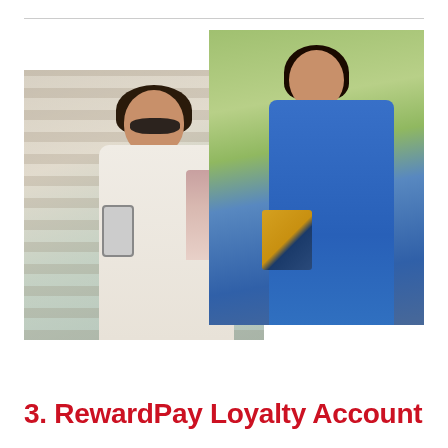[Figure (photo): Two overlapping photos of women shopping. Left photo: woman wearing sunglasses and white outfit, holding a smartphone and carrying shopping bags. Right photo: woman in a blue dress walking outdoors, carrying shopping bags.]
3. RewardPay Loyalty Account